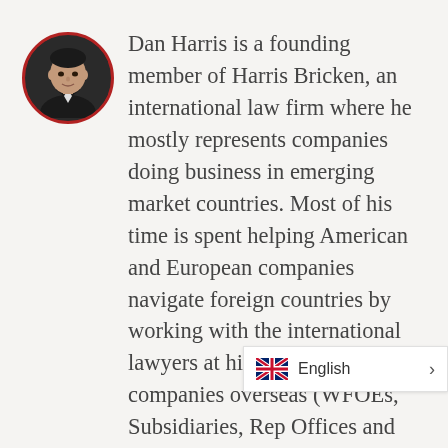[Figure (photo): Circular headshot photo of Dan Harris with a red circular border, showing a man in a suit against a dark background]
Dan Harris is a founding member of Harris Bricken, an international law firm where he mostly represents companies doing business in emerging market countries. Most of his time is spent helping American and European companies navigate foreign countries by working with the international lawyers at his firm in setting up companies overseas (WFOEs, Subsidiaries, Rep Offices and Joint Ventures), drafting international contracts, protecting IP, and overseeing M&A transactions. In addition, Dan writes and speaks extensively on international law, with a focus on protecting foreign businesses in their operations. He is s
[Figure (infographic): Language selector bar showing UK flag icon with 'English' label and a right-pointing chevron arrow]